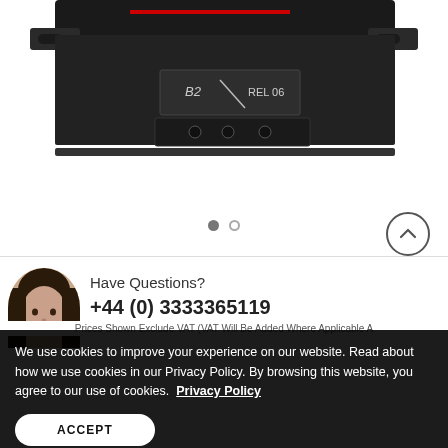[Figure (photo): Bottom view of a black electronic device/module with mounting brackets on each side, showing connectors and markings including 'B2' and 'REL 06']
[Figure (other): Carousel navigation: two dots (one filled, one outline) indicating image 1 of 2; and a circular up-arrow button on the right]
[Figure (photo): Circular crop of a person's face (customer service representative)]
Have Questions?
+44 (0) 3333365119
We use cookies to improve your experience on our website. Read about how we use cookies in our Privacy Policy. By browsing this website, you agree to our use of cookies.  Privacy Policy
Prices Shown Exclude VAT (VAT Will Be Added Where Applicable A
ACCEPT